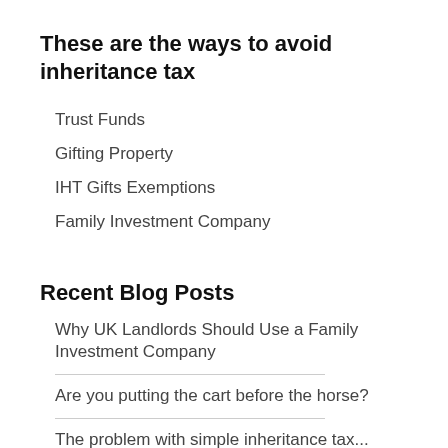These are the ways to avoid inheritance tax
Trust Funds
Gifting Property
IHT Gifts Exemptions
Family Investment Company
Recent Blog Posts
Why UK Landlords Should Use a Family Investment Company
Are you putting the cart before the horse?
The problem with simple inheritance tax...